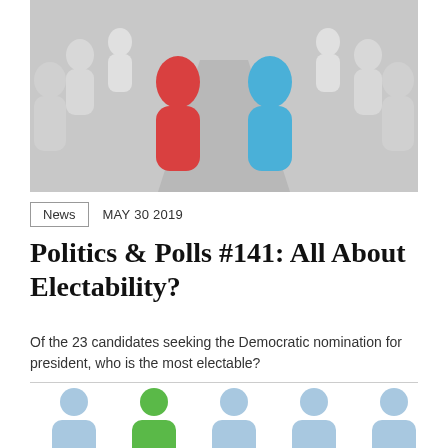[Figure (photo): 3D rendered figurines in a debate or confrontation setup: a red figurine and a blue figurine face each other in the center, surrounded by white figurines arranged in rows on either side, on a light gray surface.]
News   MAY 30 2019
Politics & Polls #141: All About Electability?
Of the 23 candidates seeking the Democratic nomination for president, who is the most electable?
[Figure (illustration): Row of five people icons: four light blue and one green (second from left), representing candidates. Each icon has a circle head and rounded rectangle body. Partially cut off at bottom of page.]